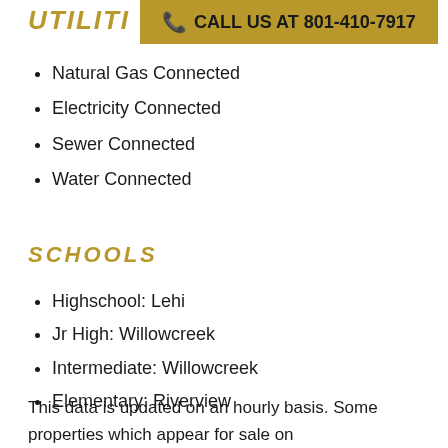UTILITIES
[Figure (other): Gold banner with phone icon and text: CALL US AT 801-410-7917]
Natural Gas Connected
Electricity Connected
Sewer Connected
Water Connected
SCHOOLS
Highschool: Lehi
Jr High: Willowcreek
Intermediate: Willowcreek
Elementary: Riverview
This data is updated on an hourly basis. Some properties which appear for sale on